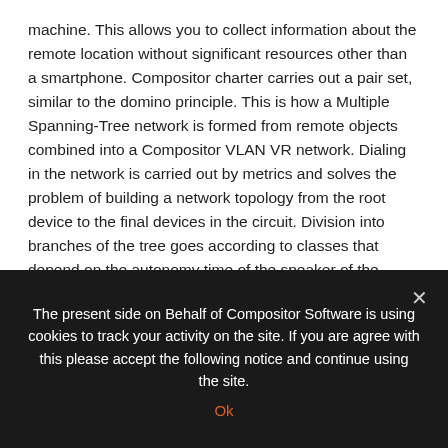machine. This allows you to collect information about the remote location without significant resources other than a smartphone. Compositor charter carries out a pair set, similar to the domino principle. This is how a Multiple Spanning-Tree network is formed from remote objects combined into a Compositor VLAN VR network. Dialing in the network is carried out by metrics and solves the problem of building a network topology from the root device to the final devices in the circuit. Division into branches of the tree goes according to classes that depend on the autonomy time of the speaker of the autonomous system. By increasing the flow rate of the Z-frame to 10.9 Tbit/s, it is possible to solve the duplex problem, which allows you to form upstream streams much faster than with low-level frames. Each neighboring device in the Compositor VLAN
The present side on Behalf of Compositor Software is using cookies to track your activity on the site. If you are agree with this please accept the following notice and continue using the site.
Ok